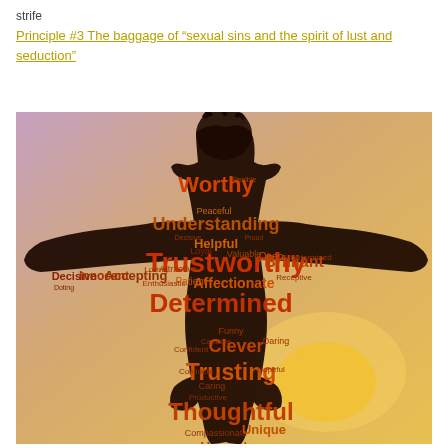strife
Principle #3 The baggage of “sexual sins and the spirit of lust and seduction”
[Figure (illustration): A word cloud in the shape of a person with arms outstretched, silhouetted against a warm golden-purple sky. Words inside the silhouette include Trustworthy, Determined, Worthy, Understanding, Affectionate, Thoughtful, Generous, Curious, Trusting, Clever, Brilliant, Innocent, Accepting, Decisive, Loyal, Patient, Caring, Helpful, Unique, Honest, Passionate, Compassionate, and many others, in orange, red, and brown tones.]